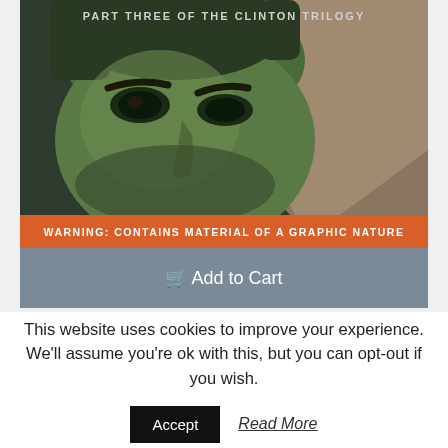[Figure (illustration): Book cover for 'Clinton: Part Three of the Clinton Trilogy' by Victor Thorn. Shows a close-up illustrated green-tinted face (eyes and nose visible), with text 'PART THREE OF THE CLINTON TRILOGY' at top, an orange warning bar reading 'WARNING: CONTAINS MATERIAL OF A GRAPHIC NATURE', and author name 'VICTOR THORN' in large dark text on black background. Below is a grey 'Add to Cart' button.]
This website uses cookies to improve your experience. We'll assume you're ok with this, but you can opt-out if you wish.
Accept
Read More